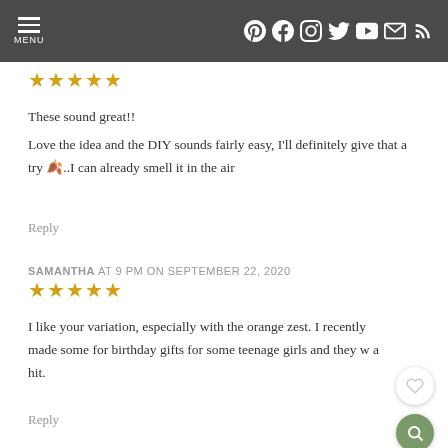MENU | social icons: Pinterest, Facebook, Instagram, Twitter, YouTube, Email, RSS
These sound great!!
Love the idea and the DIY sounds fairly easy, I'll definitely give that a try 🍂..I can already smell it in the air
Reply
SAMANTHA AT 9 PM ON SEPTEMBER 22, 2020
I like your variation, especially with the orange zest. I recently made some for birthday gifts for some teenage girls and they w… a hit.
Reply
SAMMIE LADLE AT 10 AM ON SEPTEMBER 05, 2021